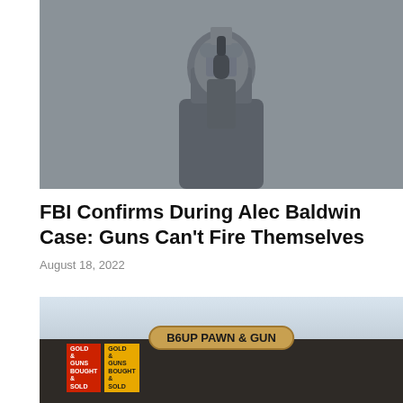[Figure (photo): A person in dark clothing holding a firearm, photographed in a dimly lit setting with a gray/muted tone]
FBI Confirms During Alec Baldwin Case: Guns Can't Fire Themselves
August 18, 2022
[Figure (photo): Exterior of a pawn and gun shop called 'B6UP PAWN & GUN' with a brown/tan oval sign, small colorful signs in the window, under an overcast sky]